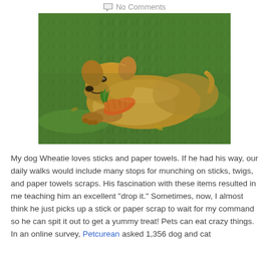No Comments
[Figure (photo): Golden retriever dog lying on green grass, holding an orange carrot-shaped toy in its mouth]
My dog Wheatie loves sticks and paper towels. If he had his way, our daily walks would include many stops for munching on sticks, twigs, and paper towels scraps. His fascination with these items resulted in me teaching him an excellent “drop it.” Sometimes, now, I almost think he just picks up a stick or paper scrap to wait for my command so he can spit it out to get a yummy treat! Pets can eat crazy things. In an online survey, Petcurean asked 1,356 dog and cat